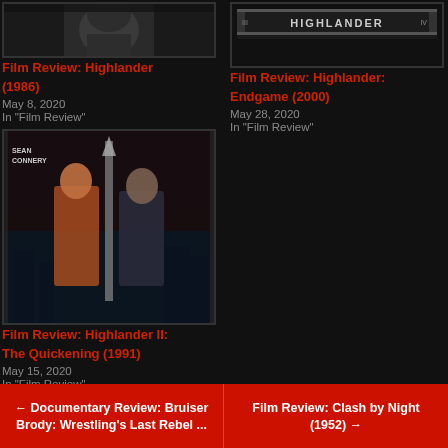[Figure (photo): Film poster thumbnail for Highlander (1986), top cropped black and white face image]
Film Review: Highlander (1986)
May 8, 2020
In "Film Review"
[Figure (photo): Film poster thumbnail for Highlander: Endgame (2000), showing Highlander logo text on dark background]
Film Review: Highlander: Endgame (2000)
May 28, 2020
In "Film Review"
[Figure (photo): Film poster for Highlander II: The Quickening (1991), featuring Sean Connery and another character with a large sword against a dark cityscape background]
Film Review: Highlander II: The Quickening (1991)
May 15, 2020
In "Film Review"
← Documentary Review: Bruiser Brody: Wrestling's Last Rebel ...   Film Review: Clash by Night (1952) →